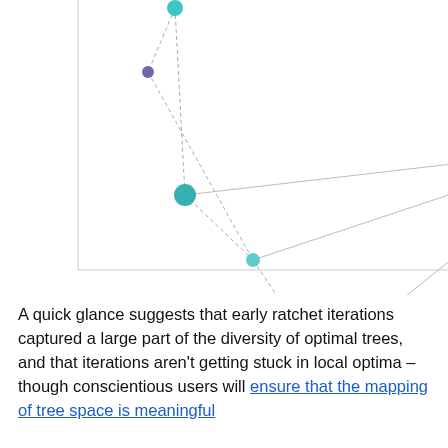[Figure (network-graph): A network/scatter plot showing nodes connected by dashed and solid gray lines. Nodes are colored teal/cyan (larger), purple/dark purple (medium), and one lime/yellow-green (large). The nodes are distributed across the upper half of a white chart area with axis lines visible on the left and bottom.]
A quick glance suggests that early ratchet iterations captured a large part of the diversity of optimal trees, and that iterations aren't getting stuck in local optima – though conscientious users will ensure that the mapping of tree space is meaningful